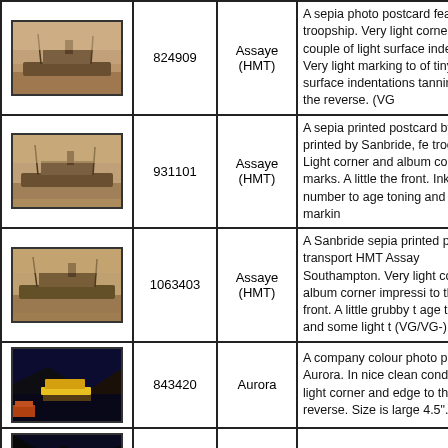| Image | ID | Name | Description |
| --- | --- | --- | --- |
| [sepia ship photo] | 824909 | Assaye (HMT) | A sepia photo postcard fea... troopship. Very light corner... couple of light surface inde... edge. Very light marking to... of tiny surface indentations... tanning to the reverse. (VG... |
| [sepia ship photo] | 931101 | Assaye (HMT) | A sepia printed postcard by... and printed by Sanbride, fe... troopship. Light corner and... album corner marks. A little... the front. Inked number to... age toning and light markin... |
| [sepia ship photo] | 1063403 | Assaye (HMT) | A Sanbride sepia printed p... troop transport HMT Assay... Southampton. Very light co... light album corner impressi... to the front. A little grubby t... age toning and some light t... (VG/VG-) |
| [colour night ship photo] | 843420 | Aurora | A company colour photo po... Aurora. In nice clean condi... very light corner and edge... to the reverse. Size is large... 4.5". (VG+) |
| [colour night ship photo 2] | 843421 | Aurora | A company colour photo po... Aurora. In nice clean condi... minimal corner wear. A cou... |